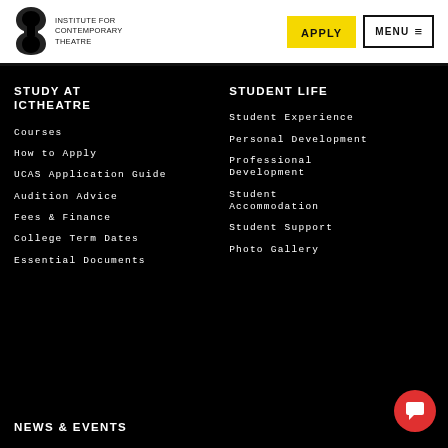[Figure (logo): Institute for Contemporary Theatre logo with abstract S/bracket shape in black]
INSTITUTE FOR CONTEMPORARY THEATRE
APPLY
MENU ≡
STUDY AT ICTHEATRE
Courses
How to Apply
UCAS Application Guide
Audition Advice
Fees & Finance
College Term Dates
Essential Documents
STUDENT LIFE
Student Experience
Personal Development
Professional Development
Student Accommodation
Student Support
Photo Gallery
NEWS & EVENTS